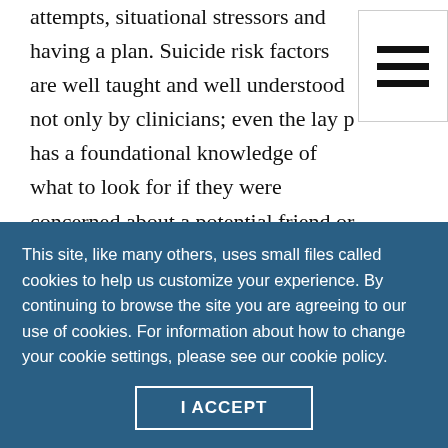attempts, situational stressors and having a plan. Suicide risk factors are well taught and well understood not only by clinicians; even the lay public has a foundational knowledge of what to look for if they were concerned about a potential friend or colleague who might be suicidal.
When it comes to risk factors that indicate a potential for harm to others, I think most clinicians draw a blank. They may guess at social isolation or wearing
This site, like many others, uses small files called cookies to help us customize your experience. By continuing to browse the site you are agreeing to our use of cookies. For information about how to change your cookie settings, please see our cookie policy.
I ACCEPT